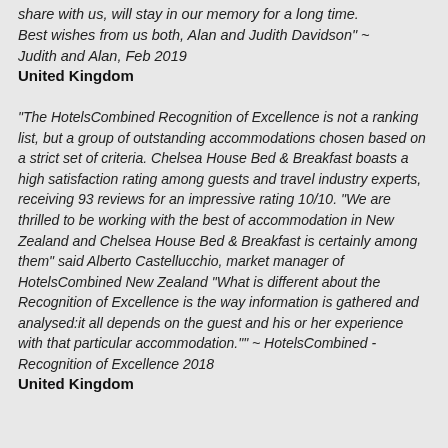share with us, will stay in our memory for a long time. Best wishes from us both, Alan and Judith Davidson" ~ Judith and Alan, Feb 2019
United Kingdom
“The HotelsCombined Recognition of Excellence is not a ranking list, but a group of outstanding accommodations chosen based on a strict set of criteria. Chelsea House Bed & Breakfast boasts a high satisfaction rating among guests and travel industry experts, receiving 93 reviews for an impressive rating 10/10. “We are thrilled to be working with the best of accommodation in New Zealand and Chelsea House Bed & Breakfast is certainly among them” said Alberto Castellucchio, market manager of HotelsCombined New Zealand “What is different about the Recognition of Excellence is the way information is gathered and analysed:it all depends on the guest and his or her experience with that particular accommodation.”” ~ HotelsCombined - Recognition of Excellence 2018
United Kingdom